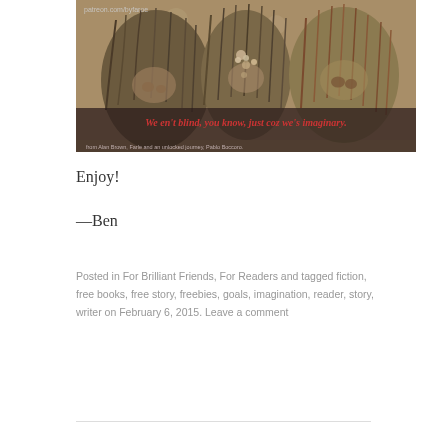[Figure (illustration): Fantasy illustration showing three troll-like creatures with long shaggy hair covering their faces, with text overlay 'We en't blind, you know, just coz we's imaginary.' and small caption text below. Watermark: patreon.com/byfaroe]
Enjoy!
—Ben
Posted in For Brilliant Friends, For Readers and tagged fiction, free books, free story, freebies, goals, imagination, reader, story, writer on February 6, 2015. Leave a comment